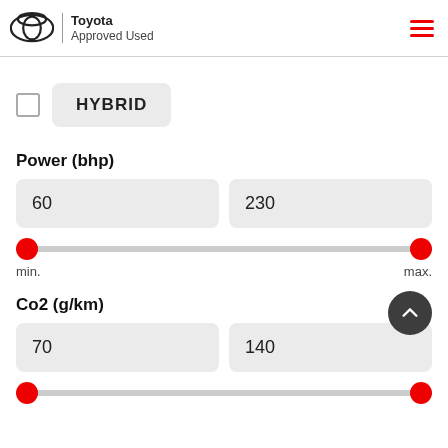Toyota Approved Used
HYBRID
Power (bhp)
60
230
min.   max.
Co2 (g/km)
70
140